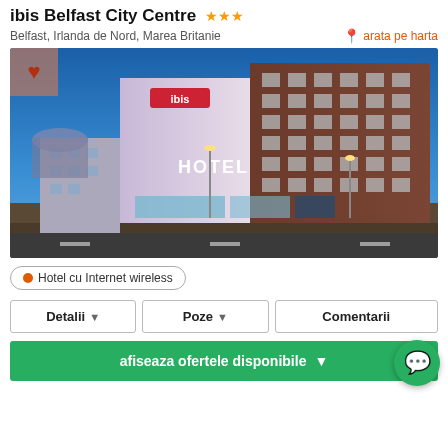ibis Belfast City Centre ★★★
Belfast, Irlanda de Nord, Marea Britanie
arata pe harta
[Figure (photo): Exterior photo of ibis Belfast City Centre hotel at dusk, showing a multi-storey brick and concrete building with HOTEL sign, illuminated at night with blue sky background]
Hotel cu Internet wireless
Detalii
Poze
Comentarii
afiseaza ofertele disponibile